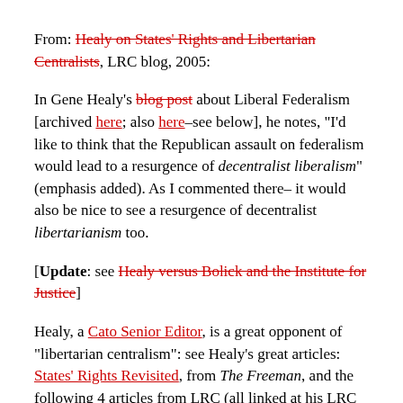From: Healy on States' Rights and Libertarian Centralists, LRC blog, 2005:
In Gene Healy's blog post about Liberal Federalism [archived here; also here–see below], he notes, "I'd like to think that the Republican assault on federalism would lead to a resurgence of decentralist liberalism" (emphasis added). As I commented there– it would also be nice to see a resurgence of decentralist libertarianism too.
[Update: see Healy versus Bolick and the Institute for Justice]
Healy, a Cato Senior Editor, is a great opponent of "libertarian centralism": see Healy's great articles: States' Rights Revisited, from The Freeman, and the following 4 articles from LRC (all linked at his LRC archive) : Contra Centralism (libertarian states